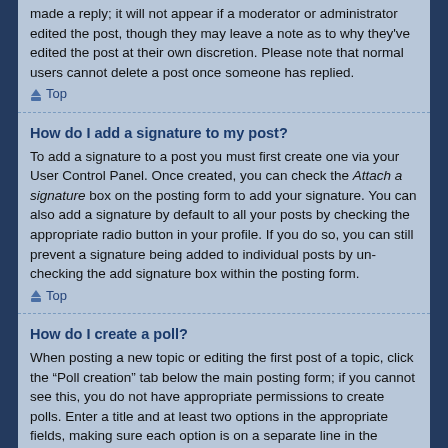made a reply; it will not appear if a moderator or administrator edited the post, though they may leave a note as to why they've edited the post at their own discretion. Please note that normal users cannot delete a post once someone has replied.
Top
How do I add a signature to my post?
To add a signature to a post you must first create one via your User Control Panel. Once created, you can check the Attach a signature box on the posting form to add your signature. You can also add a signature by default to all your posts by checking the appropriate radio button in your profile. If you do so, you can still prevent a signature being added to individual posts by un-checking the add signature box within the posting form.
Top
How do I create a poll?
When posting a new topic or editing the first post of a topic, click the “Poll creation” tab below the main posting form; if you cannot see this, you do not have appropriate permissions to create polls. Enter a title and at least two options in the appropriate fields, making sure each option is on a separate line in the textarea. You can also set the number of options users may select during voting under “Options per user”, a time limit in days for the poll (0 for infinite duration) and lastly the option to allow users to amend their votes.